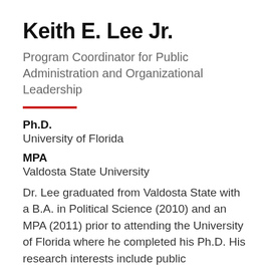Keith E. Lee Jr.
Program Coordinator for Public Administration and Organizational Leadership
Ph.D.
University of Florida
MPA
Valdosta State University
Dr. Lee graduated from Valdosta State with a B.A. in Political Science (2010) and an MPA (2011) prior to attending the University of Florida where he completed his Ph.D. His research interests include public policymaking and...